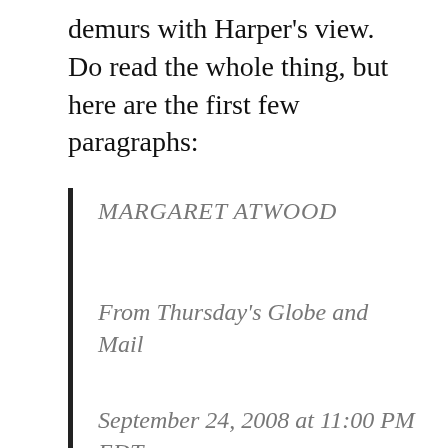demurs with Harper's view. Do read the whole thing, but here are the first few paragraphs:
MARGARET ATWOOD
From Thursday's Globe and Mail
September 24, 2008 at 11:00 PM EDT
What sort of country do we